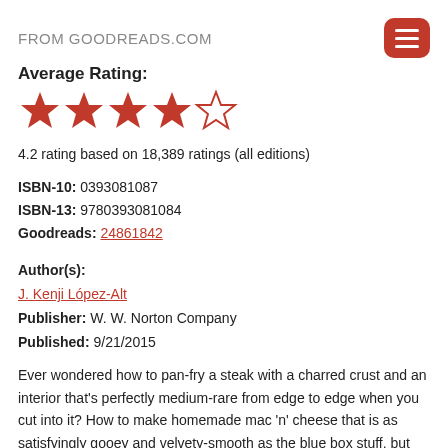FROM GOODREADS.COM
Average Rating:
[Figure (other): 4 and a half red stars rating display (4 filled red stars and 1 half/outline star)]
4.2 rating based on 18,389 ratings (all editions)
ISBN-10: 0393081087
ISBN-13: 9780393081084
Goodreads: 24861842
Author(s):
J. Kenji López-Alt
Publisher: W. W. Norton Company
Published: 9/21/2015
Ever wondered how to pan-fry a steak with a charred crust and an interior that's perfectly medium-rare from edge to edge when you cut into it? How to make homemade mac 'n' cheese that is as satisfyingly gooey and velvety-smooth as the blue box stuff, but far tastier? How to roast a